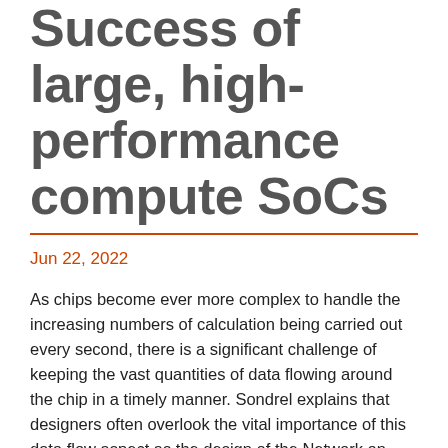Success of large, high-performance compute SoCs
Jun 22, 2022
As chips become ever more complex to handle the increasing numbers of calculation being carried out every second, there is a significant challenge of keeping the vast quantities of data flowing around the chip in a timely manner. Sondrel explains that designers often overlook the vital importance of this data flow aspect as the design of the Network on Chip (NoC), which is responsible for this, is complex and it is hard to verify that the performance requirements are met in all circumstances as there are lots of corner cases. This results in sub-optimal data transfers by the